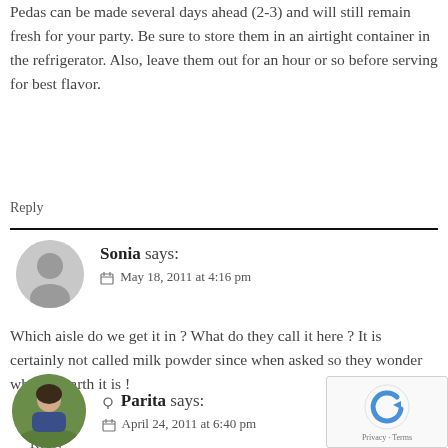Pedas can be made several days ahead (2-3) and will still remain fresh for your party. Be sure to store them in an airtight container in the refrigerator. Also, leave them out for an hour or so before serving for best flavor.
Reply
Sonia says:
May 18, 2011 at 4:16 pm
Which aisle do we get it in ? What do they call it here ? It is certainly not called milk powder since when asked so they wonder what on earth it is !
Reply
Parita says:
April 24, 2011 at 6:40 pm
Hi i hotal Mania...